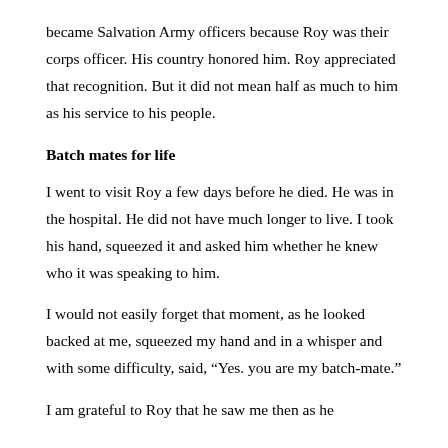became Salvation Army officers because Roy was their corps officer. His country honored him. Roy appreciated that recognition. But it did not mean half as much to him as his service to his people.
Batch mates for life
I went to visit Roy a few days before he died. He was in the hospital. He did not have much longer to live. I took his hand, squeezed it and asked him whether he knew who it was speaking to him.
I would not easily forget that moment, as he looked backed at me, squeezed my hand and in a whisper and with some difficulty, said, “Yes. you are my batch-mate.”
I am grateful to Roy that he saw me then as he